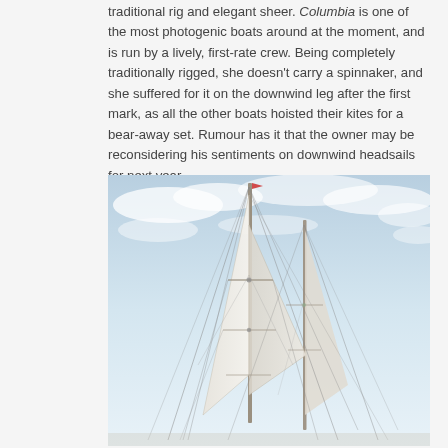traditional rig and elegant sheer. Columbia is one of the most photogenic boats around at the moment, and is run by a lively, first-rate crew. Being completely traditionally rigged, she doesn't carry a spinnaker, and she suffered for it on the downwind leg after the first mark, as all the other boats hoisted their kites for a bear-away set. Rumour has it that the owner may be reconsidering his sentiments on downwind headsails for next year.
[Figure (photo): Looking up at the tall masts and rigging of a classic sailing schooner against a light blue sky with wispy clouds. Two masts visible with white sails partially set and complex rigging lines.]